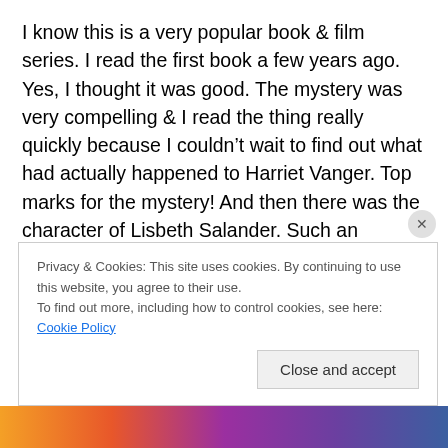I know this is a very popular book & film series. I read the first book a few years ago. Yes, I thought it was good. The mystery was very compelling & I read the thing really quickly because I couldn't wait to find out what had actually happened to Harriet Vanger. Top marks for the mystery! And then there was the character of Lisbeth Salander. Such an intriguing character! As I've only read the first book, I don't know much about her. I didn't enjoy the first book enough to read the rest but, if I ever do, it will only be to read more about her character & what happens
Privacy & Cookies: This site uses cookies. By continuing to use this website, you agree to their use.
To find out more, including how to control cookies, see here: Cookie Policy